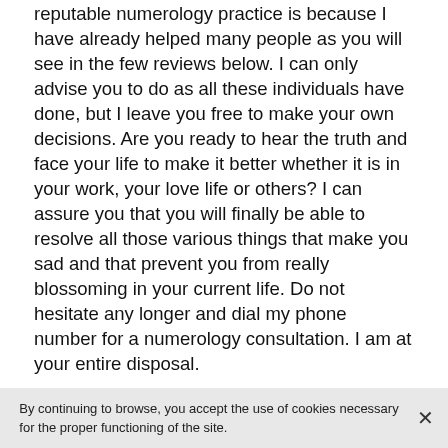reputable numerology practice is because I have already helped many people as you will see in the few reviews below. I can only advise you to do as all these individuals have done, but I leave you free to make your own decisions. Are you ready to hear the truth and face your life to make it better whether it is in your work, your love life or others? I can assure you that you will finally be able to resolve all those various things that make you sad and that prevent you from really blossoming in your current life. Do not hesitate any longer and dial my phone number for a numerology consultation. I am at your entire disposal.
Reviews of my numerologist consultations
A very good numerologist pro who helped me a lot
I am very happy that I finally had the courage to consult a
By continuing to browse, you accept the use of cookies necessary for the proper functioning of the site.